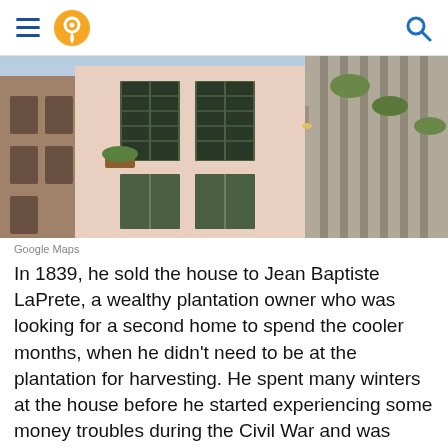Navigation header with hamburger menu, location pin icon, and search icon
[Figure (photo): Street-level photo of historic building facades with shuttered windows and balconies, taken from ground looking up, Google Maps street view style]
Google Maps
In 1839, he sold the house to Jean Baptiste LaPrete, a wealthy plantation owner who was looking for a second home to spend the cooler months, when he didn't need to be at the plantation for harvesting. He spent many winters at the house before he started experiencing some money troubles during the Civil War and was forced to rent out his home to make some extra money.
LaPrete rented out the house to Prince Suleyman, a Turkish man who claimed to be a